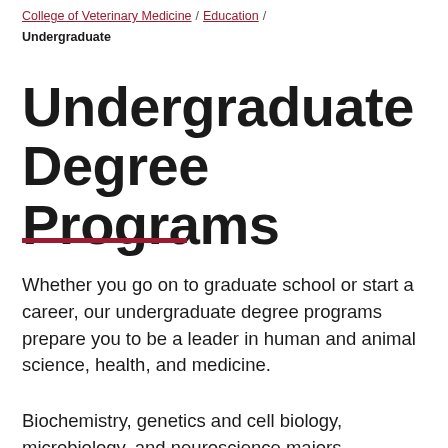College of Veterinary Medicine / Education / Undergraduate
Undergraduate Degree Programs
Whether you go on to graduate school or start a career, our undergraduate degree programs prepare you to be a leader in human and animal science, health, and medicine.
Biochemistry, genetics and cell biology, microbiology, and neuroscience majors